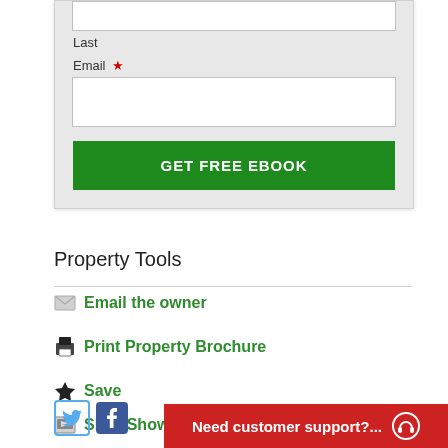[Figure (screenshot): Web form card with Last name input field, Email label with required asterisk, email text input box, and green GET FREE EBOOK button on grey background]
Property Tools
Email the owner
Print Property Brochure
Save
Slide Show
[Figure (logo): Twitter and Facebook social media icons]
Need customer support?...